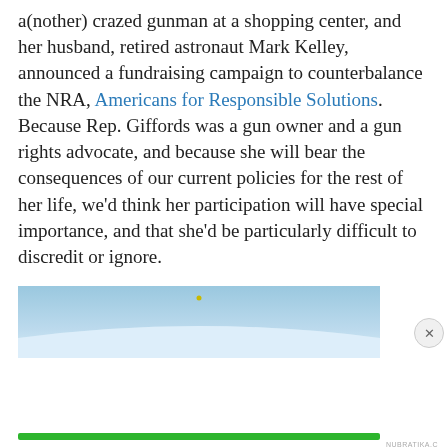a(nother) crazed gunman at a shopping center, and her husband, retired astronaut Mark Kelley, announced a fundraising campaign to counterbalance the NRA, Americans for Responsible Solutions.  Because Rep. Giffords was a gun owner and a gun rights advocate, and because she will bear the consequences of our current policies for the rest of her life, we'd think her participation will have special importance, and that she'd be particularly difficult to discredit or ignore.
[Figure (photo): Partial image of a blue sky with curved horizon or landscape, with a small yellow/green dot near top center. Bottom portion cut off.]
Privacy & Cookies: This site uses cookies. By continuing to use this website, you agree to their use.
To find out more, including how to control cookies, see here: Cookie Policy